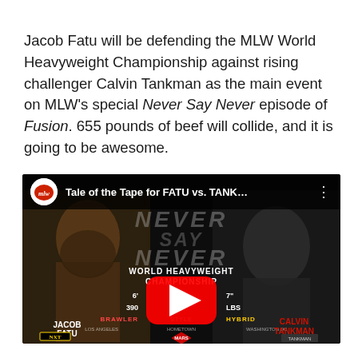Jacob Fatu will be defending the MLW World Heavyweight Championship against rising challenger Calvin Tankman as the main event on MLW's special Never Say Never episode of Fusion. 655 pounds of beef will collide, and it is going to be awesome.
[Figure (screenshot): YouTube video thumbnail showing Jacob Fatu vs Calvin Tankman tale of the tape for MLW World Heavyweight Championship, with a YouTube play button overlay. Title bar reads 'Tale of the Tape for FATU vs. TANK…'. Both wrestlers are shown side by side on a dark background with stats between them.]